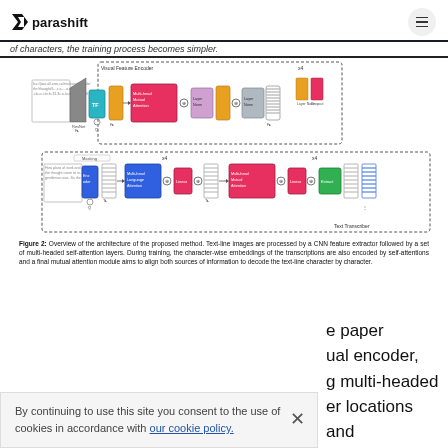parashift
of characters, the training process becomes simpler.
[Figure (engineering-diagram): Architecture diagram of the proposed method showing Visual Feature Encoder (top) with CNN, TF, multi-head mutual attention, LayerNorm, Dropout blocks (x4 repeated), and Text Transcriber (bottom) with Masking, multi-head language attention, Linear, multi-head mutual attention, Linear, and Extract blocks (x4 repeated).]
Figure 2: Overview of the architecture of the proposed method. Text-line images are processed by a CNN feature extractor followed by a set of multi-headed self-attention layers. During training, the character-wise embeddings of the transcriptions are also encoded by self-attentions and a final mutual attention module aims to align both sources of information to decode the text-line character by character.
e paper
ual encoder,
g multi-headed
er locations and
By continuing to use this site you consent to the use of cookies in accordance with our cookie policy.